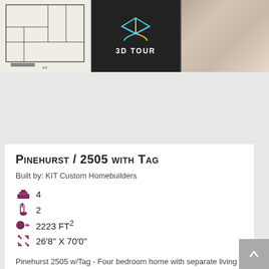[Figure (screenshot): Three-panel header image: floor plan blueprint on left, 3D Tour icon in center on dark background, stone/wood texture on right]
Pinehurst / 2505 with Tag
Built by: KIT Custom Homebuilders
4 (bedrooms)
2 (bathrooms)
2223 FT²
26'8" X 70'0"
Pinehurst 2505 w/Tag - Four bedroom home with separate living and family rooms. Family room with 4th bedroom can easily be...
More Info
Price Quote